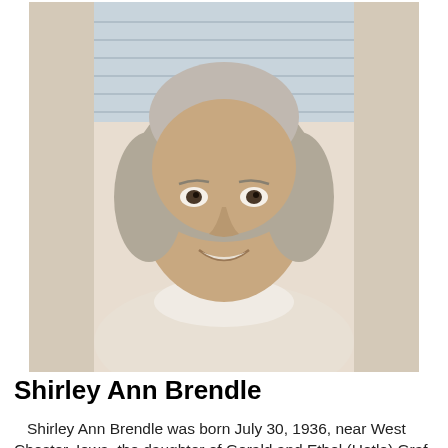[Figure (photo): Portrait photo of an elderly woman with short gray hair, wearing a white turtleneck sweater, smiling, photographed indoors near a window with blinds in the background.]
Shirley Ann Brendle
Shirley Ann Brendle was born July 30, 1936, near West Chester, Iowa, the daughter of Gerald and Ethel (Hotle) Graf. She grew up in the West Chester and Wellman area graduating from … more
2/22/22 02:11 PM
[Figure (photo): Partial photo visible at bottom of page showing what appears to be a floral or decorative scene.]